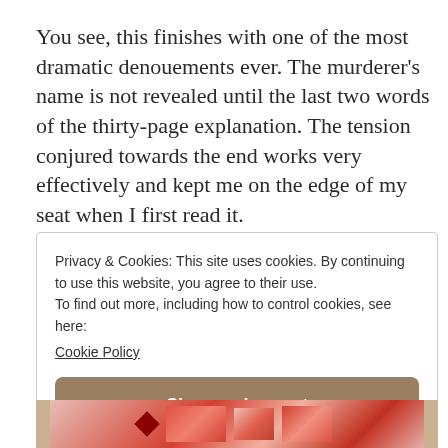You see, this finishes with one of the most dramatic denouements ever. The murderer's name is not revealed until the last two words of the thirty-page explanation. The tension conjured towards the end works very effectively and kept me on the edge of my seat when I first read it.
Privacy & Cookies: This site uses cookies. By continuing to use this website, you agree to their use.
To find out more, including how to control cookies, see here:
Cookie Policy
[Close and accept]
[Figure (photo): Partial view of a book cover with red and white illustration, bordered by tan/brown vertical strips on left and right.]